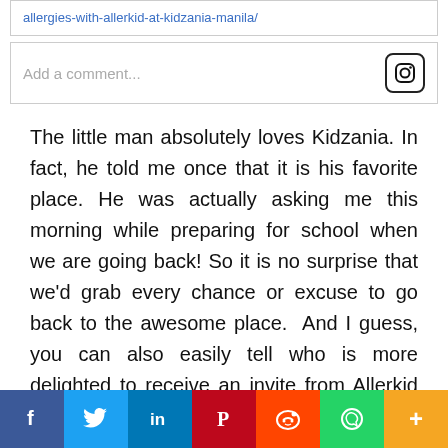https://www.mum-writes.com/2016/11/learning-more-about-allergies-with-allerkid-at-kidzania-manila/
Add a comment...
The little man absolutely loves Kidzania. In fact, he told me once that it is his favorite place. He was actually asking me this morning while preparing for school when we are going back! So it is no surprise that we'd grab every chance or excuse to go back to the awesome place.  And I guess, you can also easily tell who is more delighted to receive an invite from Allerkid to spend a day with them at Kidzania Manila a few weeks back. 😀
Allerkid is...
f  Twitter  in  Pinterest  Reddit  WhatsApp  More